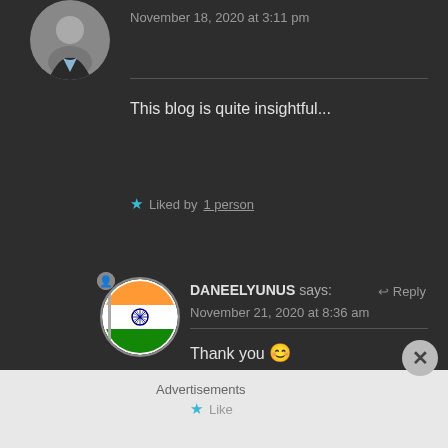November 18, 2020 at 3:11 pm
This blog is quite insightful...
Liked by 1 person
DANEELYUNUS says:
Reply
November 21, 2020 at 8:36 am
Thank you 😊
Like
Advertisements